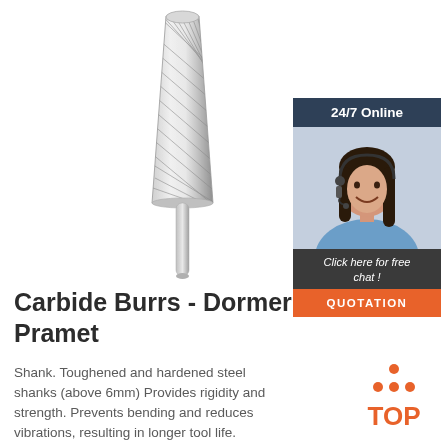[Figure (photo): Carbide burr rotary cutting tool with tapered cone shape and diagonal flute pattern, silver metallic finish with cylindrical shank]
[Figure (photo): Customer service representative woman wearing headset, smiling, with dark hair, blue shirt. Sidebar banner with '24/7 Online' header and 'Click here for free chat!' text and orange QUOTATION button.]
Carbide Burrs - Dormer Pramet
Shank. Toughened and hardened steel shanks (above 6mm) Provides rigidity and strength. Prevents bending and reduces vibrations, resulting in longer tool life.
[Figure (logo): TOP badge logo with orange triangle made of dots above orange text 'TOP']